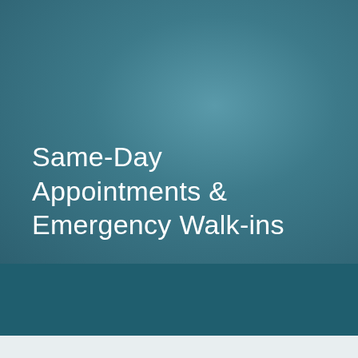Same-Day Appointments & Emergency Walk-ins
[Figure (infographic): Navigation bar with three icon buttons: hamburger menu, phone/call, and location pin, on a dark teal background]